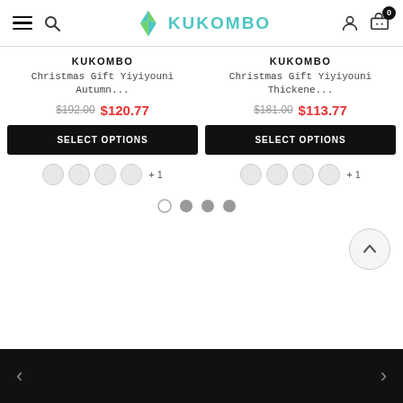KUKOMBO - Navigation header with hamburger menu, search, logo, user icon, cart with badge 0
KUKOMBO
Christmas Gift Yiyiyouni Autumn...
$192.00  $120.77
SELECT OPTIONS
KUKOMBO
Christmas Gift Yiyiyouni Thickene...
$181.00  $113.77
SELECT OPTIONS
[Figure (other): Pagination dots: one empty circle followed by three filled grey circles]
[Figure (other): Scroll-to-top button: circular button with upward chevron arrow]
Navigation arrows left and right on dark footer bar